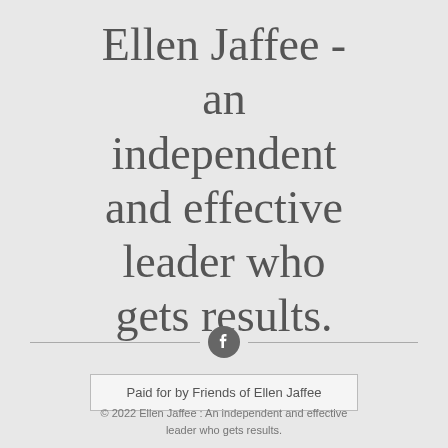Ellen Jaffee - an independent and effective leader who gets results.
[Figure (illustration): Horizontal divider line with a Facebook icon circle in the center]
Paid for by Friends of Ellen Jaffee
© 2022 Ellen Jaffee  :  An independent and effective leader who gets results.